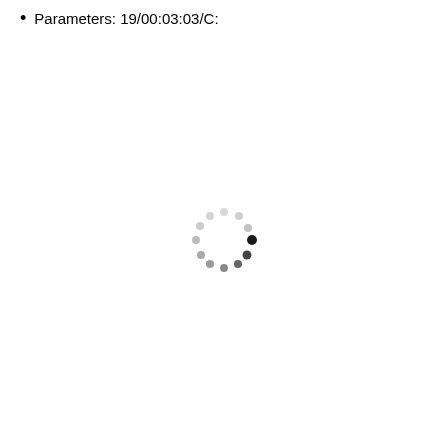Parameters: 19/00:03:03/C:
[Figure (other): Loading spinner — circular arrangement of dots in varying shades from light gray to dark gray/black, indicating a loading state]